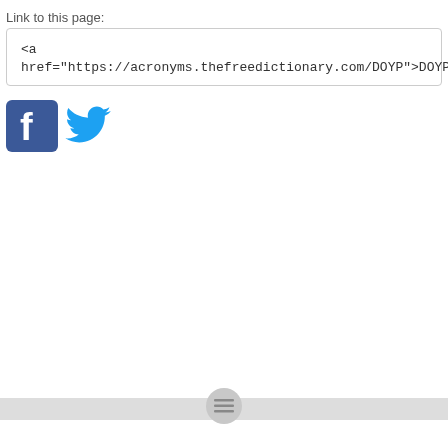Link to this page:
<a href="https://acronyms.thefreedictionary.com/DOYP">DOYP</a>
[Figure (logo): Facebook and Twitter social share icon buttons]
Bottom navigation bar with hamburger menu icon